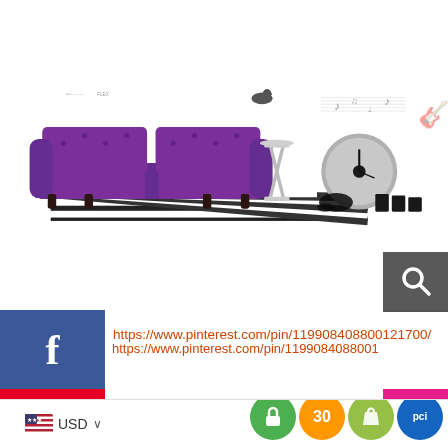[Figure (photo): Interior design collage showing a purple tufted sofa, side table, striped rug, a record/clock, black candles, and music notes on white background]
[Figure (screenshot): Gray search button with magnifying glass icon on the right side]
https://www.pinterest.com/pin/119908408800121700/
[Figure (infographic): Social media share buttons: Facebook (blue), Pinterest (red), Twitter (blue), Google+ (red), Instagram (pink)]
[Figure (infographic): Pink heart/save button in top right corner]
If you love this black and plumb Rock N' Roll home design concept, these rocker home accessories will help you decorate...
[Figure (infographic): Bottom bar with US flag USD currency selector and bottom app/security icons: green lock, orange 30-day badge, Shopify bag, PCI shield]
USD